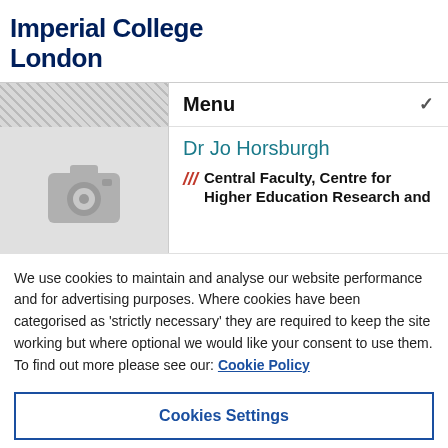Imperial College London
[Figure (screenshot): Website screenshot showing Imperial College London profile page for Dr Jo Horsburgh with menu bar and cookie consent overlay]
Menu
Dr Jo Horsburgh
/// Central Faculty, Centre for Higher Education Research and
We use cookies to maintain and analyse our website performance and for advertising purposes. Where cookies have been categorised as 'strictly necessary' they are required to keep the site working but where optional we would like your consent to use them. To find out more please see our: Cookie Policy
Cookies Settings